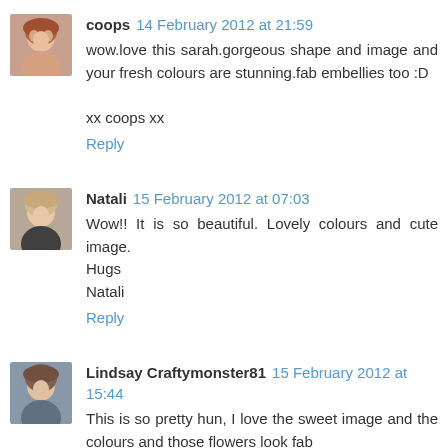[Figure (photo): Avatar photo of coops - woman with reddish hair]
coops 14 February 2012 at 21:59
wow.love this sarah.gorgeous shape and image and your fresh colours are stunning.fab embellies too :D

xx coops xx

Reply
[Figure (photo): Avatar photo of Natali - woman with light hair]
Natali 15 February 2012 at 07:03
Wow!! It is so beautiful. Lovely colours and cute image.
Hugs
Natali

Reply
[Figure (photo): Avatar photo of Lindsay Craftymonster81 - woman with dark hair]
Lindsay Craftymonster81 15 February 2012 at 15:44
This is so pretty hun, I love the sweet image and the colours and those flowers look fab
Lindsay xx
P.S I am having the same issue with blogger and people's